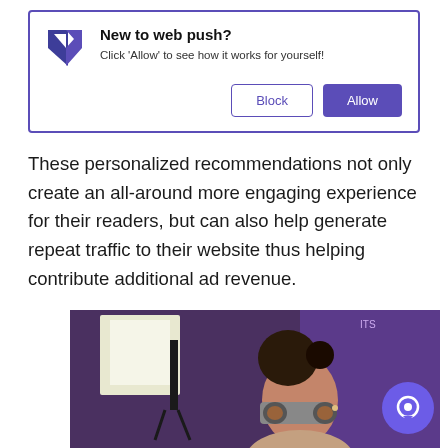[Figure (screenshot): Web push notification prompt with Pushly logo, 'New to web push?' title, subtitle text, and Block/Allow buttons]
These personalized recommendations not only create an all-around more engaging experience for their readers, but can also help generate repeat traffic to their website thus helping contribute additional ad revenue.
[Figure (photo): Photo of a young woman with hair bun looking through binoculars, purple-tinted background with broadcast equipment]